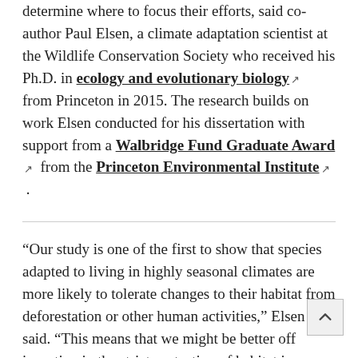determine where to focus their efforts, said co-author Paul Elsen, a climate adaptation scientist at the Wildlife Conservation Society who received his Ph.D. in ecology and evolutionary biology [ext] from Princeton in 2015. The research builds on work Elsen conducted for his dissertation with support from a Walbridge Fund Graduate Award [ext] from the Princeton Environmental Institute [ext].
“Our study is one of the first to show that species adapted to living in highly seasonal climates are more likely to tolerate changes to their habitat from deforestation or other human activities,” Elsen said. “This means that we might be better off investing in the strict protection of habitat in more tropical environments to protect species, whereas in more seasonal environments, a combination of protec[ted and more intensively...]